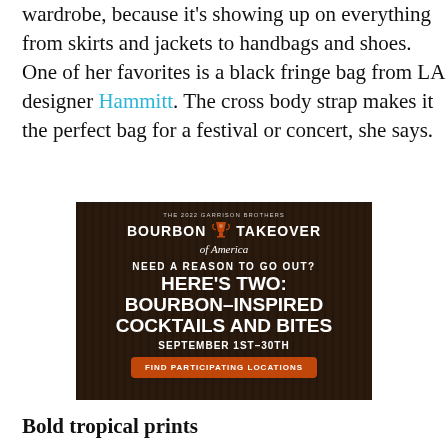wardrobe, because it's showing up on everything from skirts and jackets to handbags and shoes. One of her favorites is a black fringe bag from LA designer Hammitt. The cross body strap makes it the perfect bag for a festival or concert, she says.
[Figure (other): Advertisement for The 2022 Garrison Brothers Bourbon Takeover of America. Dark wood-paneled background with white text reading: NEED A REASON TO GO OUT? HERE'S TWO: BOURBON-INSPIRED COCKTAILS AND BITES. SEPTEMBER 1ST-30TH. Orange button: FIND PARTICIPATING LOCATIONS.]
Bold tropical prints